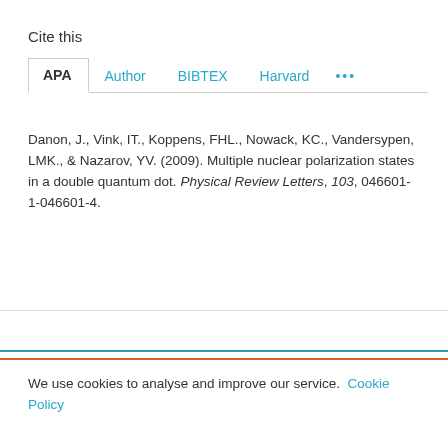Cite this
APA  Author  BIBTEX  Harvard  ...
Danon, J., Vink, IT., Koppens, FHL., Nowack, KC., Vandersypen, LMK., & Nazarov, YV. (2009). Multiple nuclear polarization states in a double quantum dot. Physical Review Letters, 103, 046601-1-046601-4.
We use cookies to analyse and improve our service. Cookie Policy